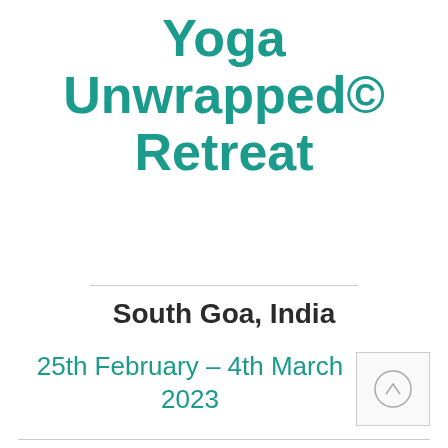Yoga Unwrapped© Retreat
South Goa, India
25th February – 4th March 2023